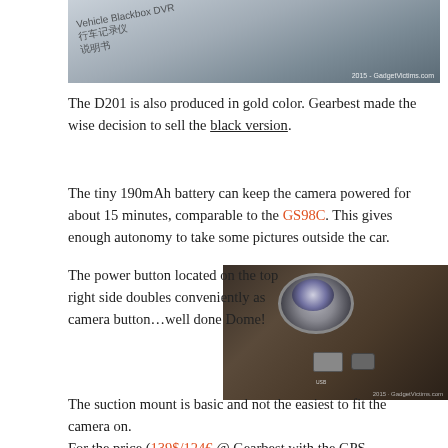[Figure (photo): Top portion of a dashcam box/manual with Chinese text and watermark '2015 - GadgetVictims.com']
The D201 is also produced in gold color. Gearbest made the wise decision to sell the black version.
The tiny 190mAh battery can keep the camera powered for about 15 minutes, comparable to the GS98C. This gives enough autonomy to take some pictures outside the car.
[Figure (photo): Close-up photo of a dashcam showing lens, USB port, and power/camera button on top right side. Watermark present.]
The power button located on the top right side doubles conveniently as camera button…well done Dome!
The suction mount is basic and not the easiest to fit the camera on. For the price (139$/124€ @ Gearbest with the GPS